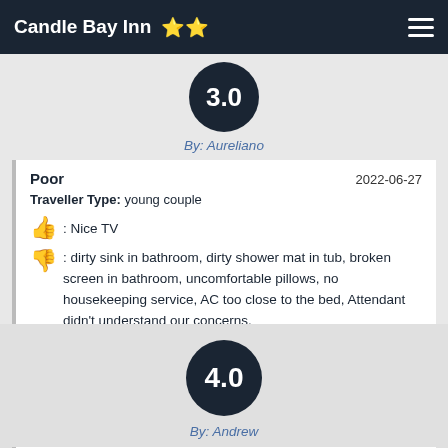Candle Bay Inn ⭐⭐
[Figure (other): Score badge showing 3.0 in dark circle]
By: Aureliano
Poor    2022-06-27
Traveller Type: young couple
👍 : Nice TV
👎 : dirty sink in bathroom, dirty shower mat in tub, broken screen in bathroom, uncomfortable pillows, no housekeeping service, AC too close to the bed, Attendant didn't understand our concerns.
[Figure (other): Score badge showing 4.0 in dark circle]
By: Andrew
Disappointing    2022-06-13